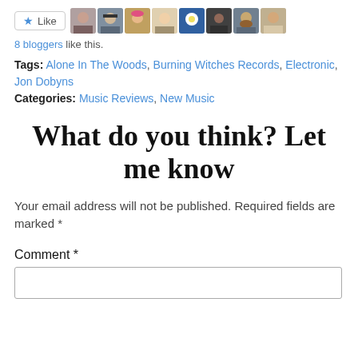[Figure (other): Like button with star icon and a row of 8 blogger avatar thumbnails]
8 bloggers like this.
Tags: Alone In The Woods, Burning Witches Records, Electronic, Jon Dobyns
Categories: Music Reviews, New Music
What do you think? Let me know
Your email address will not be published. Required fields are marked *
Comment *